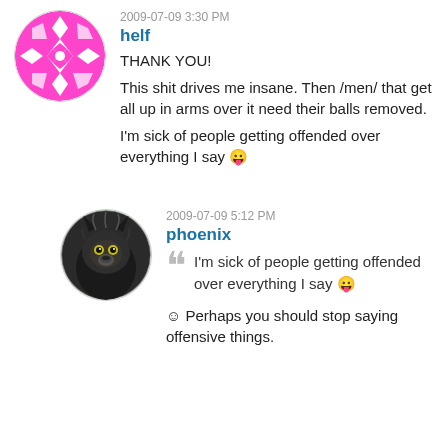2009-07-09 3:30 PM
helf
THANK YOU!
This shit drives me insane. Then /men/ that get all up in arms over it need their balls removed.
I'm sick of people getting offended over everything I say 😛
2009-07-09 5:12 PM
phoenix
I'm sick of people getting offended over everything I say 😛
☺ Perhaps you should stop saying offensive things.